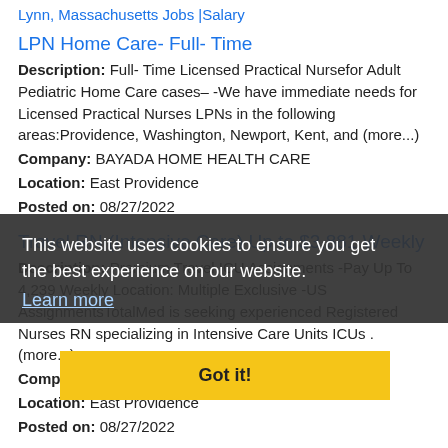Lynn, Massachusetts Jobs |Salary
LPN Home Care- Full- Time
Description: Full- Time Licensed Practical Nursefor Adult Pediatric Home Care cases– -We have immediate needs for Licensed Practical Nurses LPNs in the following areas:Providence, Washington, Newport, Kent, and (more...)
Company: BAYADA HOME HEALTH CARE
Location: East Providence
Posted on: 08/27/2022
Travel RN (Intensive Care) Up to $3,881 Weekly
Description: Premium Travel ICU Assignments -Pay Up To 4,239 Weekly Location: Multiple Exclusive -US AssignmentsTotalMed is seeking experienced Registered Nurses RN specializing in Intensive Care Units ICUs . (more...)
Company:
Location: East Providence
Posted on: 08/27/2022
This website uses cookies to ensure you get the best experience on our website.
Learn more
Got it!
Lean Manufacturing Manager
Description: We are working with a global organization that manufactures electrical components for the automotive industry that is seeking a Lean Manufacturing Manager to support their